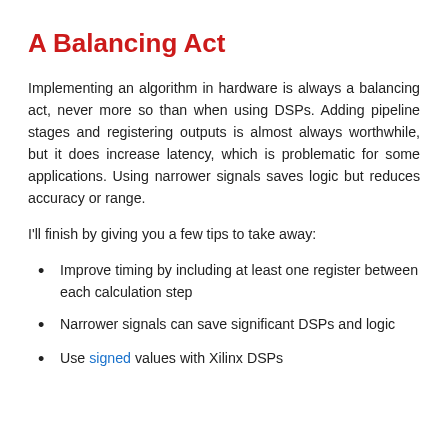A Balancing Act
Implementing an algorithm in hardware is always a balancing act, never more so than when using DSPs. Adding pipeline stages and registering outputs is almost always worthwhile, but it does increase latency, which is problematic for some applications. Using narrower signals saves logic but reduces accuracy or range.
I'll finish by giving you a few tips to take away:
Improve timing by including at least one register between each calculation step
Narrower signals can save significant DSPs and logic
Use signed values with Xilinx DSPs